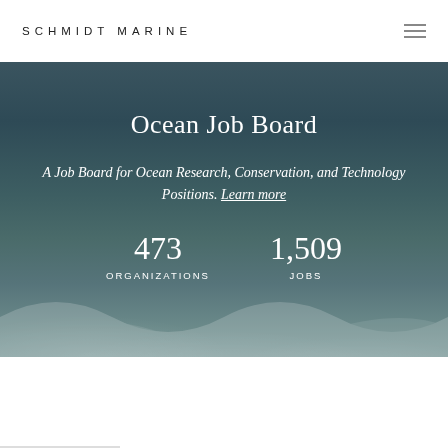SCHMIDT MARINE
Ocean Job Board
A Job Board for Ocean Research, Conservation, and Technology Positions. Learn more
473 ORGANIZATIONS   1,509 JOBS
< Back to job board